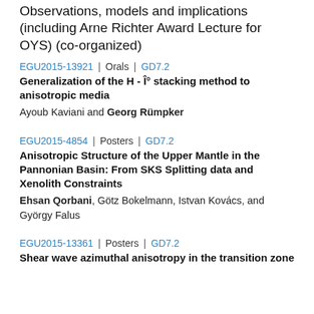GD7.2 – Anisotropy from crust to core: Observations, models and implications (including Arne Richter Award Lecture for OYS) (co-organized)
EGU2015-13921 | Orals | GD7.2
Generalization of the H - Î° stacking method to anisotropic media
Ayoub Kaviani and Georg Rümpker
EGU2015-4854 | Posters | GD7.2
Anisotropic Structure of the Upper Mantle in the Pannonian Basin: From SKS Splitting data and Xenolith Constraints
Ehsan Qorbani, Götz Bokelmann, Istvan Kovács, and György Falus
EGU2015-13361 | Posters | GD7.2
Shear wave azimuthal anisotropy in the transition zone